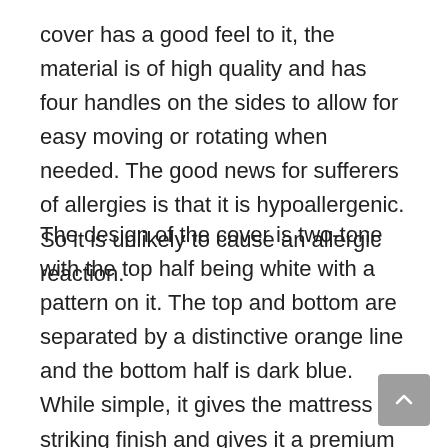cover has a good feel to it, the material is of high quality and has four handles on the sides to allow for easy moving or rotating when needed. The good news for sufferers of allergies is that it is hypoallergenic. So it is unlikely to cause an allergic reaction.
The design of the cover is two-tone with the top half being white with a pattern on it. The top and bottom are separated by a distinctive orange line and the bottom half is dark blue. While simple, it gives the mattress a striking finish and gives it a premium feel.